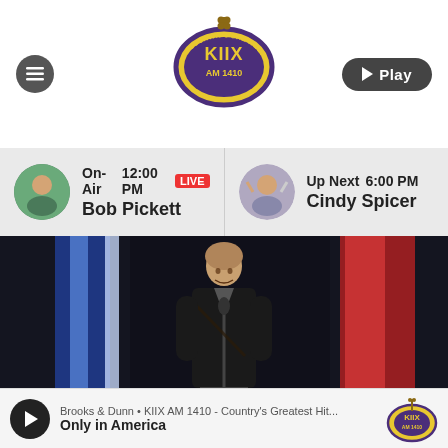[Figure (logo): KIIX AM 1410 Country's Greatest Hits radio station logo — oval shape with guitar graphic, purple/yellow colors]
On-Air 12:00 PM LIVE
Bob Pickett
Up Next 6:00 PM
Cindy Spicer
[Figure (photo): Male performer on stage at microphone with blue and red light streaks in background, wearing dark jacket]
Brooks & Dunn • KIIX AM 1410 - Country's Greatest Hit...
Only in America